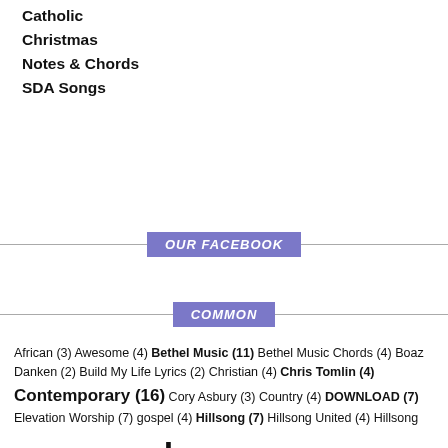Catholic
Christmas
Notes & Chords
SDA Songs
OUR FACEBOOK
COMMON
African (3) Awesome (4) Bethel Music (11) Bethel Music Chords (4) Boaz Danken (2) Build My Life Lyrics (2) Christian (4) Chris Tomlin (4) Contemporary (16) Cory Asbury (3) Country (4) DOWNLOAD (7) Elevation Worship (7) gospel (4) Hillsong (7) Hillsong United (4) Hillsong Worship (4) Housefires (3) hymnorama (838) Hymns (18) Jason Ingram (4) Kristyn Getty (3) Lauren Daigle (2) lessons (4) Life (4) Living Godly (4) Lyrics (7) Maranda (2) Maranda Curtis (2) Matt Redman (3) Maverick City Music (2) mp3 (7) Passion Band (3) Pat Barrett (2) Paul Mabury (2) Phil Wickham (4) Praise (24) preaching (4) sermons (4) Swahili (2) Teachings (4) Video (5) Vineyard (2) Worship (77)